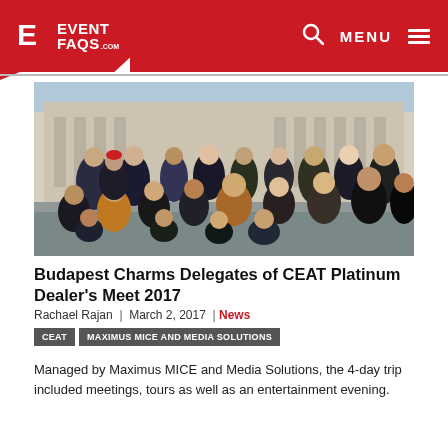[Figure (logo): EventFAQs.com logo with red background and white text]
[Figure (photo): Group photo of approximately 25 delegates posing outdoors in front of a large classical building (likely the Hungarian Parliament), taken in winter with people wearing heavy coats.]
Budapest Charms Delegates of CEAT Platinum Dealer's Meet 2017
Rachael Rajan  |  March 2, 2017  |  News
CEAT  MAXIMUS MICE AND MEDIA SOLUTIONS
Managed by Maximus MICE and Media Solutions, the 4-day trip included meetings, tours as well as an entertainment evening.